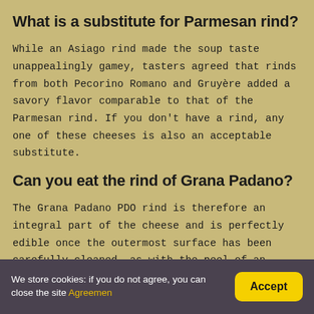What is a substitute for Parmesan rind?
While an Asiago rind made the soup taste unappealingly gamey, tasters agreed that rinds from both Pecorino Romano and Gruyère added a savory flavor comparable to that of the Parmesan rind. If you don't have a rind, any one of these cheeses is also an acceptable substitute.
Can you eat the rind of Grana Padano?
The Grana Padano PDO rind is therefore an integral part of the cheese and is perfectly edible once the outermost surface has been carefully cleaned, as with the peel of an apple, for example; indeed, in accordance with the Production Specification Rules, the rind does not undergo
We store cookies: if you do not agree, you can close the site Agreemen